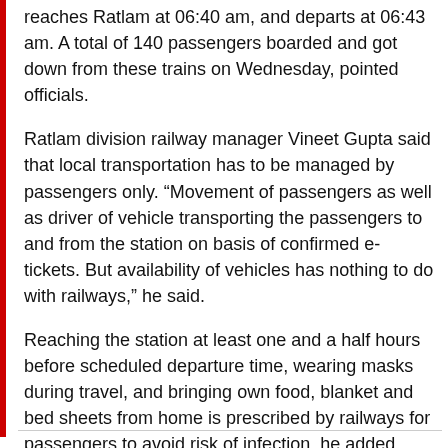reaches Ratlam at 06:40 am, and departs at 06:43 am. A total of 140 passengers boarded and got down from these trains on Wednesday, pointed officials.
Ratlam division railway manager Vineet Gupta said that local transportation has to be managed by passengers only. “Movement of passengers as well as driver of vehicle transporting the passengers to and from the station on basis of confirmed e-tickets. But availability of vehicles has nothing to do with railways,” he said.
Reaching the station at least one and a half hours before scheduled departure time, wearing masks during travel, and bringing own food, blanket and bed sheets from home is prescribed by railways for passengers to avoid risk of infection, he added.